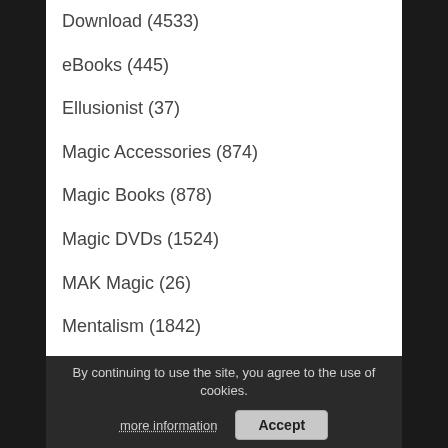Download (4533)
eBooks (445)
Ellusionist (37)
Magic Accessories (874)
Magic Books (878)
Magic DVDs (1524)
MAK Magic (26)
Mentalism (1842)
Money Magic (1118)
Not Discountable (8903)
One Of A Kind (35)
Rope Magic (57)
Silk Magic (300)
By continuing to use the site, you agree to the use of cookies.
more information
Accept